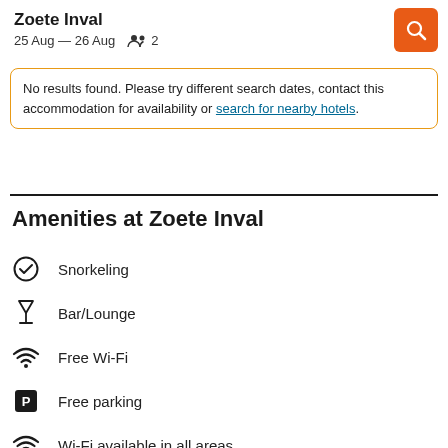Zoete Inval
25 Aug — 26 Aug   2
No results found. Please try different search dates, contact this accommodation for availability or search for nearby hotels.
Amenities at Zoete Inval
Snorkeling
Bar/Lounge
Free Wi-Fi
Free parking
Wi-Fi available in all areas